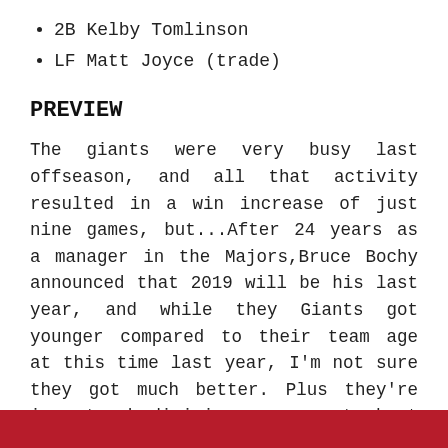2B Kelby Tomlinson
LF Matt Joyce (trade)
PREVIEW
The giants were very busy last offseason, and all that activity resulted in a win increase of just nine games, but...After 24 years as a manager in the Majors,Bruce Bochy announced that 2019 will be his last year, and while they Giants got younger compared to their team age at this time last year, I'm not sure they got much better. Plus they're in a tough division, so expect about the same as last year in Bochy's farewell tour.
ST. LOUIS CARDINALS
[Figure (other): Red banner/bar at the bottom of the page]